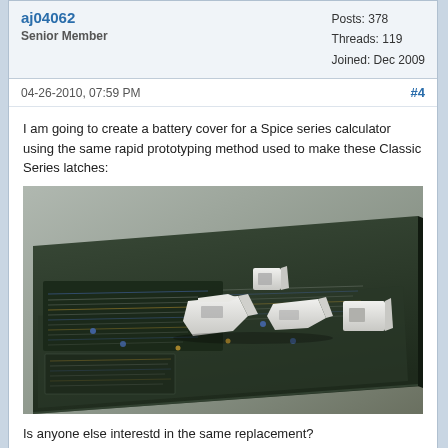aj04062
Senior Member
Posts: 378
Threads: 119
Joined: Dec 2009
04-26-2010, 07:59 PM
#4
I am going to create a battery cover for a Spice series calculator using the same rapid prototyping method used to make these Classic Series latches:
[Figure (photo): Photo of a vintage HP calculator lying flat with several white 3D-printed plastic latch/clip replacement parts placed on top of it, on a grey background.]
Is anyone else interestd in the same replacement?